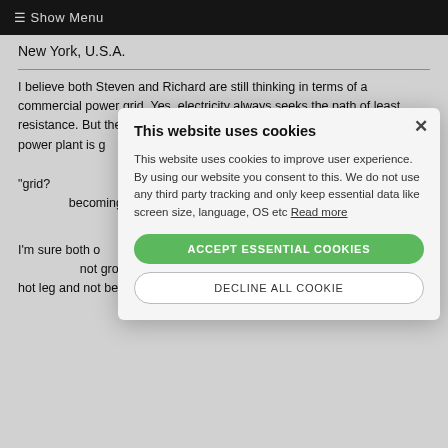☰ Show Menu
New York, U.S.A.
I believe both Steven and Richard are still thinking in terms of a commercial power grid. Yes, electricity always seeks the path of least resistance. But the primary reason it is seeking the path to the commercial power plant is grounding! Take grounding out of the effect! As I said that on a massive scale, and on a more localized "grid?" commercial wind and solar could be becoming the primary supply. When the housing becomes the ground, it is a better conductor than...
I'm sure both of them have, at one time, worked on a hot circuit where the circuit was not grounded (such as a car), and found that you can touch a hot leg and not be shocked, so long as
[Figure (other): Cookie consent modal dialog with title 'This website uses cookies', body text about cookie policy, a green 'ACCEPT ESSENTIAL COOKIES' button, and a 'DECLINE ALL COOKIE' button. Has a close (×) button in top right.]